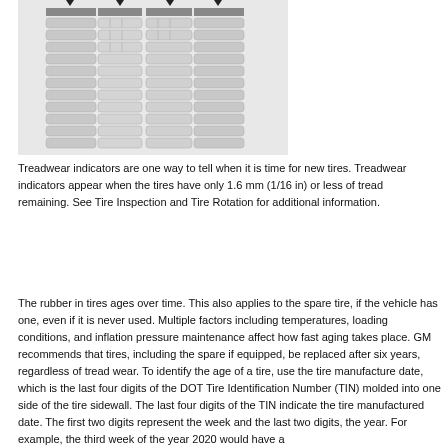[Figure (illustration): Cross-section illustration of tire tread showing treadwear indicators (small raised bars) in tread grooves, with arrows pointing to tread depth indicators at the top of each groove channel.]
Treadwear indicators are one way to tell when it is time for new tires. Treadwear indicators appear when the tires have only 1.6 mm (1/16 in) or less of tread remaining. See Tire Inspection and Tire Rotation for additional information.
The rubber in tires ages over time. This also applies to the spare tire, if the vehicle has one, even if it is never used. Multiple factors including temperatures, loading conditions, and inflation pressure maintenance affect how fast aging takes place. GM recommends that tires, including the spare if equipped, be replaced after six years, regardless of tread wear. To identify the age of a tire, use the tire manufacture date, which is the last four digits of the DOT Tire Identification Number (TIN) molded into one side of the tire sidewall. The last four digits of the TIN indicate the tire manufactured date. The first two digits represent the week and the last two digits, the year. For example, the third week of the year 2020 would have a